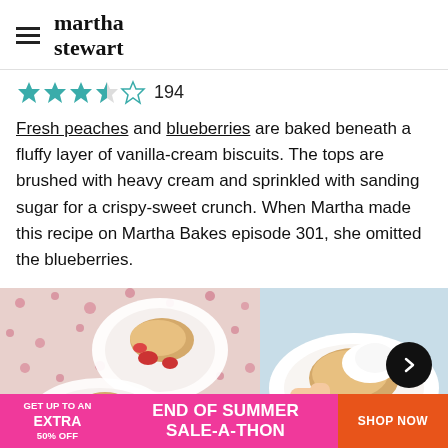martha stewart
★★★☆☆ 194
Fresh peaches and blueberries are baked beneath a fluffy layer of vanilla-cream biscuits. The tops are brushed with heavy cream and sprinkled with sanding sugar for a crispy-sweet crunch. When Martha made this recipe on Martha Bakes episode 301, she omitted the blueberries.
[Figure (photo): Top-down view of two white bowls containing biscuit cobbler with strawberries/peaches on a floral tablecloth]
[Figure (photo): Close-up of a biscuit being spread with whipped cream on a white plate, with a forward navigation arrow button]
Straw...
Cara...
GET UP TO AN EXTRA 50% OFF END OF SUMMER SALE-A-THON SHOP NOW